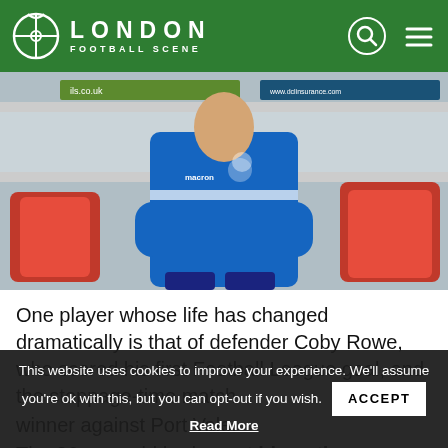LONDON FOOTBALL SCENE
[Figure (photo): A football player in a blue Wingate & Finchley tracksuit sitting on red stadium seats in a dugout, arms crossed, with advertising boards in the background.]
One player whose life has changed dramatically is that of defender Coby Rowe, who scored his first Football League goal, and the stoppage-time match winner against Port Vale.
The 26-year-old had spent his entire career at non-
This website uses cookies to improve your experience. We'll assume you're ok with this, but you can opt-out if you wish. Read More ACCEPT